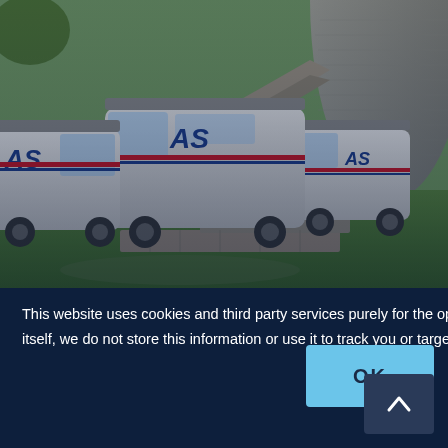[Figure (photo): Outdoor photo showing three white service vans branded with 'AS' logo parked on grass near a stone castle tower. The vans have roof racks and red/blue stripe livery. The background shows an ancient stone fortification with green grass and trees.]
This website uses cookies and third party services purely for the operation of the site itself, we do not store this information or use it to track you or target you with advertising.